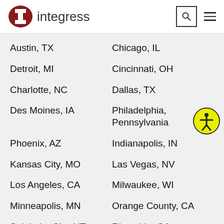integress
Austin, TX
Chicago, IL
Detroit, MI
Cincinnati, OH
Charlotte, NC
Dallas, TX
Des Moines, IA
Philadelphia, Pennsylvania
Phoenix, AZ
Indianapolis, IN
Kansas City, MO
Las Vegas, NV
Los Angeles, CA
Milwaukee, WI
Minneapolis, MN
Orange County, CA
Salt Lake City, UT
Riverside, CA
Reno, NV
San Bernardino, CA
San Diego, CA
San Jose, CA
Seattle, WA
Topeka, KS
Toledo, OH
Nashville, TN